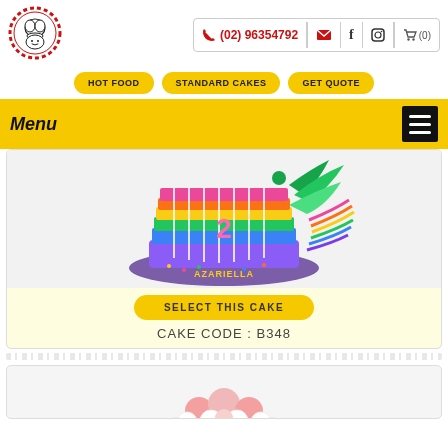[Figure (logo): Circular red lace-bordered logo with chef character in black and white]
(02) 96354792
HOT FOOD
STANDARD CAKES
GET QUOTE
Menu
[Figure (photo): Rainbow layered birthday cake with number 2 and name AZARIELLA, decorated with white sticks and colorful frosting on purple base]
SELECT THIS CAKE
CAKE CODE : B348
[Figure (photo): Partial top view of a cake decorated with pink and white ball/dome shaped elements on white background]